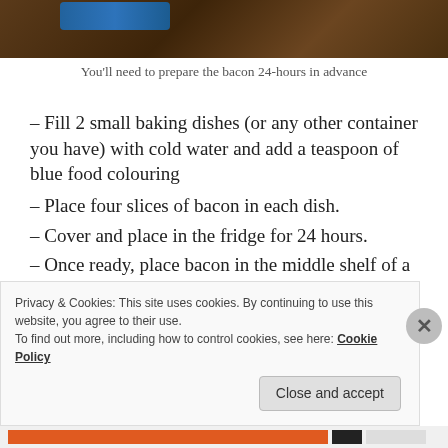[Figure (photo): Top portion of a photo showing bacon in a blue liquid/dye mixture in a dark soil or dish context]
You'll need to prepare the bacon 24-hours in advance
– Fill 2 small baking dishes (or any other container you have) with cold water and add a teaspoon of blue food colouring
– Place four slices of bacon in each dish.
– Cover and place in the fridge for 24 hours.
– Once ready, place bacon in the middle shelf of a pre-heated oven and cook at 180 degrees for 15-20, making sure that it doesn't burn and turn black.
Privacy & Cookies: This site uses cookies. By continuing to use this website, you agree to their use.
To find out more, including how to control cookies, see here: Cookie Policy
Close and accept